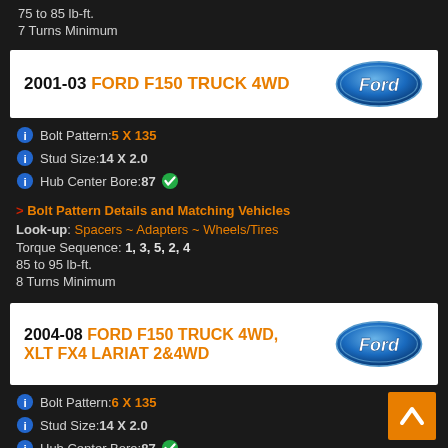75 to 85 lb-ft.
7 Turns Minimum
2001-03 FORD F150 TRUCK 4WD
Bolt Pattern: 5 X 135
Stud Size: 14 X 2.0
Hub Center Bore: 87
> Bolt Pattern Details and Matching Vehicles
Look-up: Spacers ~ Adapters ~ Wheels/Tires
Torque Sequence: 1, 3, 5, 2, 4
85 to 95 lb-ft.
8 Turns Minimum
2004-08 FORD F150 TRUCK 4WD, XLT FX4 LARIAT 2&4WD
Bolt Pattern: 6 X 135
Stud Size: 14 X 2.0
Hub Center Bore: 87